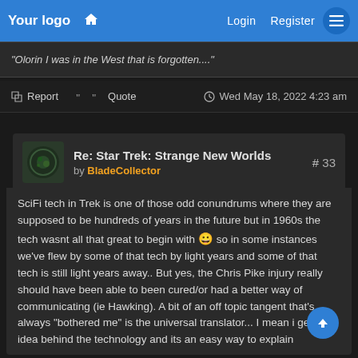Your logo  Login  Register
"Olorin I was in the West that is forgotten...."
Report  Quote  Wed May 18, 2022 4:23 am
Re: Star Trek: Strange New Worlds  # 33  by BladeCollector
SciFi tech in Trek is one of those odd conundrums where they are supposed to be hundreds of years in the future but in 1960s the tech wasnt all that great to begin with 😀 so in some instances we've flew by some of that tech by light years and some of that tech is still light years away.. But yes, the Chris Pike injury really should have been able to been cured/or had a better way of communicating (ie Hawking). A bit of an off topic tangent that's always "bothered me" is the universal translator... I mean i ge the idea behind the technology and its an easy way to explain